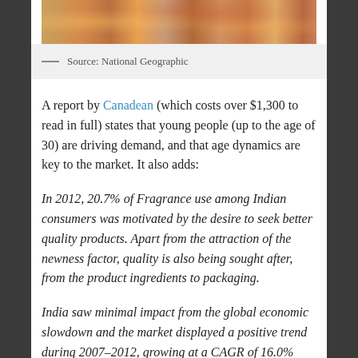[Figure (photo): Cropped photo of a crowd of people, appearing to show a colorful festive or outdoor gathering scene]
— Source: National Geographic
A report by Canadean (which costs over $1,300 to read in full) states that young people (up to the age of 30) are driving demand, and that age dynamics are key to the market. It also adds:
In 2012, 20.7% of Fragrance use among Indian consumers was motivated by the desire to seek better quality products. Apart from the attraction of the newness factor, quality is also being sought after, from the product ingredients to packaging.
India saw minimal impact from the global economic slowdown and the market displayed a positive trend during 2007–2012, growing at a CAGR of 16.0% during this period in local currency terms. The upbeat mood of the economy and its increasing integration with globalized lifestyles and consumption patterns will drive the growth.